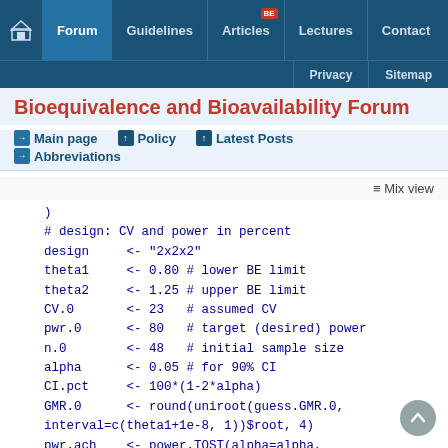Forum | Guidelines | Articles BE | Lectures | Contact | Privacy | Sitemap
Bioequivalence and Bioavailability Forum
→ Main page   ↑ Policy   ↑ Latest Posts
→ Abbreviations
≡ Mix view
)
# design: CV and power in percent
design     <- "2x2x2"
theta1     <- 0.80 # lower BE limit
theta2     <- 1.25 # upper BE limit
CV.0       <- 23   # assumed CV
pwr.0      <- 80   # target (desired) power
n.0        <- 48   # initial sample size
alpha      <- 0.05 # for 90% CI
CI.pct     <- 100*(1-2*alpha)
GMR.0      <- round(uniroot(guess.GMR.0,
interval=c(theta1+1e-8, 1))$root, 4)
pwr.ach    <- power.TOST(alpha=alpha,
CV.CV.0/100, theta.GMR.0